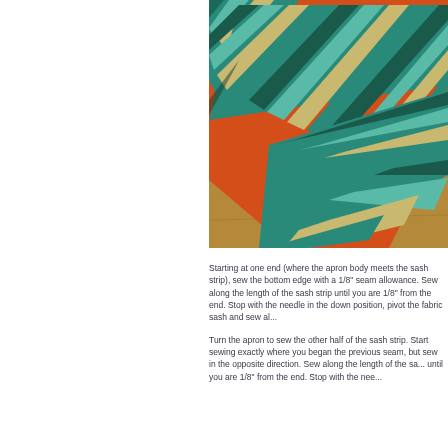[Figure (photo): Photo of patchwork fabric pieces — orange floral print fabric and teal/green/brown diagonal striped fabric arranged on a wooden surface, showing sewing/quilting work in progress.]
Starting at one end (where the apron body meets the sash strip), sew the bottom edge with a 1/8" seam allowance. Sew along the length of the sash strip until you are 1/8" from the end. Stop with the needle in the down position, pivot the fabric sash and sew along the short edge of the strip.
Turn the apron to sew the other half of the sash strip. Start sewing exactly where you began the previous seam, but sew in the opposite direction. Sew along the length of the sash strip until you are 1/8" from the end. Stop with the nee...